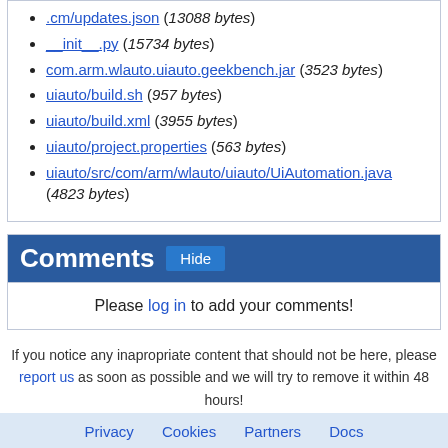.cm/updates.json (13088 bytes)
__init__.py (15734 bytes)
com.arm.wlauto.uiauto.geekbench.jar (3523 bytes)
uiauto/build.sh (957 bytes)
uiauto/build.xml (3955 bytes)
uiauto/project.properties (563 bytes)
uiauto/src/com/arm/wlauto/uiauto/UiAutomation.java (4823 bytes)
Comments
Please log in to add your comments!
If you notice any inapropriate content that should not be here, please report us as soon as possible and we will try to remove it within 48 hours!
Privacy   Cookies   Partners   Docs